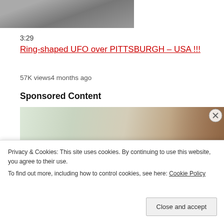[Figure (photo): Partial view of a photo, appears to show a dark structure against a light sky (cropped at top)]
3:29
Ring-shaped UFO over PITTSBURGH – USA !!!
57K views4 months ago
Sponsored Content
[Figure (photo): Photo of a woman wearing headphones in an office-like setting with a light background]
Privacy & Cookies: This site uses cookies. By continuing to use this website, you agree to their use.
To find out more, including how to control cookies, see here: Cookie Policy